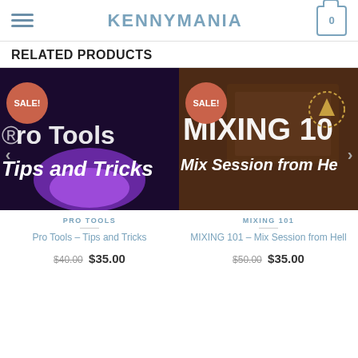KENNYMANIA
RELATED PRODUCTS
[Figure (screenshot): Product image for Pro Tools - Tips and Tricks with purple/black background showing 'Pro Tools Tips and Tricks' text, with SALE! badge]
PRO TOOLS
Pro Tools – Tips and Tricks
$40.00 $35.00
[Figure (screenshot): Product image for MIXING 101 - Mix Session from Hell showing studio equipment background with 'MIXING 101 Mix Session from Hell' text and an arrow icon, with SALE! badge]
MIXING 101
MIXING 101 – Mix Session from Hell
$50.00 $35.00